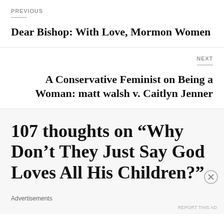PREVIOUS
Dear Bishop: With Love, Mormon Women
NEXT
A Conservative Feminist on Being a Woman: matt walsh v. Caitlyn Jenner
107 thoughts on “Why Don’t They Just Say God Loves All His Children?”
Advertisements
REPORT THIS AD